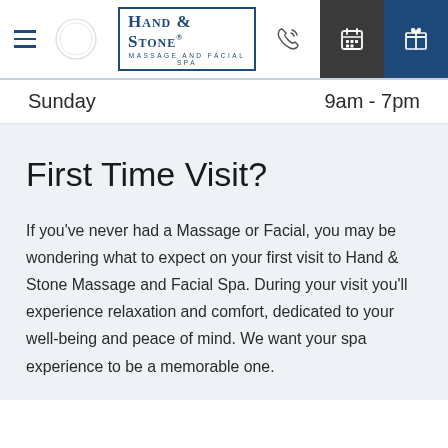Hand & Stone Massage and Facial Spa — navigation header with hamburger menu, logo, phone icon, calendar icon, gift icon
Sunday    9am - 7pm
First Time Visit?
If you've never had a Massage or Facial, you may be wondering what to expect on your first visit to Hand & Stone Massage and Facial Spa. During your visit you'll experience relaxation and comfort, dedicated to your well-being and peace of mind. We want your spa experience to be a memorable one.